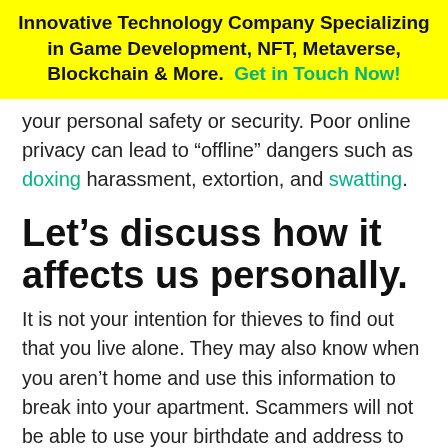Innovative Technology Company Specializing in Game Development, NFT, Metaverse, Blockchain & More. Get in Touch Now!
your personal safety or security. Poor online privacy can lead to “offline” dangers such as doxing harassment, extortion, and swatting.
Let’s discuss how it affects us personally.
It is not your intention for thieves to find out that you live alone. They may also know when you aren’t home and use this information to break into your apartment. Scammers will not be able to use your birthdate and address to obtain loans in your name. Cyber-criminals must be stopped.